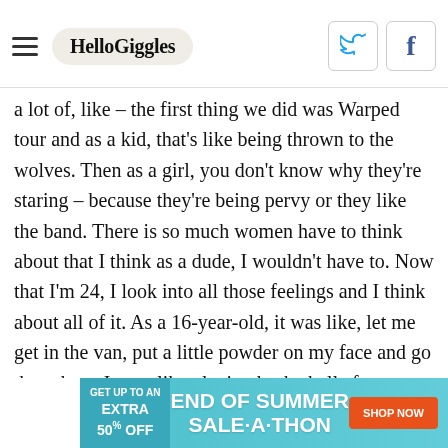HelloGiggles
a lot of, like – the first thing we did was Warped tour and as a kid, that's like being thrown to the wolves. Then as a girl, you don't know why they're staring – because they're being pervy or they like the band. There is so much women have to think about that I think as a dude, I wouldn't have to. Now that I'm 24, I look into all those feelings and I think about all of it. As a 16-year-old, it was like, let me get in the van, put a little powder on my face and go do a show. It was like playing basketball after school, but I much prefer the awareness I have now. I'm hoping that whatever I do, if I do anything in the
[Figure (infographic): Advertisement banner: GET UP TO AN EXTRA 50% OFF | END OF SUMMER SALE-A-THON | SHOP NOW button]